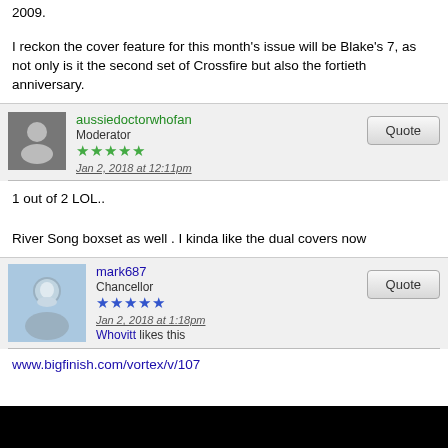2009.
I reckon the cover feature for this month's issue will be Blake's 7, as not only is it the second set of Crossfire but also the fortieth anniversary.
aussiedoctorwhofan
Moderator
Jan 2, 2018 at 12:11pm
1 out of 2 LOL..
River Song boxset as well . I kinda like the dual covers now
mark687
Chancellor
Jan 2, 2018 at 1:18pm
Whovitt likes this
www.bigfinish.com/vortex/v/107
Interestingly the majority of the letter reply wasn't about PC not being ready